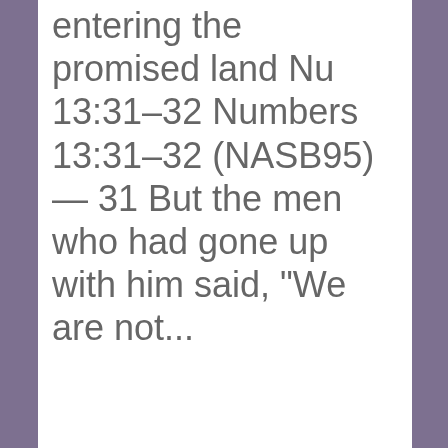entering the promised land Nu 13:31–32 Numbers 13:31–32 (NASB95) — 31 But the men who had gone up with him said, “We are not...
Continue Reading...
Privacy & Cookies: This site uses cookies. By continuing to use this website, you agree to their use.
To find out more, including how to control cookies, see here: Cookie Policy
Close and accept